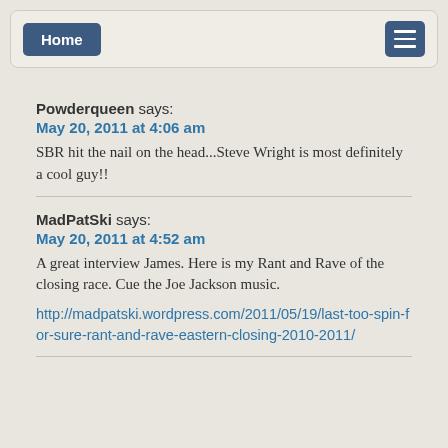Home
Powderqueen says:
May 20, 2011 at 4:06 am
SBR hit the nail on the head...Steve Wright is most definitely a cool guy!!
MadPatSki says:
May 20, 2011 at 4:52 am
A great interview James. Here is my Rant and Rave of the closing race. Cue the Joe Jackson music.
http://madpatski.wordpress.com/2011/05/19/last-too-spin-for-sure-rant-and-rave-eastern-closing-2010-2011/